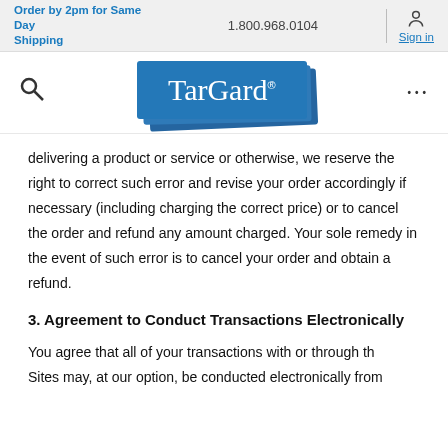Order by 2pm for Same Day Shipping  1.800.968.0104  Sign in
[Figure (logo): TarGard logo — white serif text on layered blue rectangles]
delivering a product or service or otherwise, we reserve the right to correct such error and revise your order accordingly if necessary (including charging the correct price) or to cancel the order and refund any amount charged. Your sole remedy in the event of such error is to cancel your order and obtain a refund.
3. Agreement to Conduct Transactions Electronically
You agree that all of your transactions with or through the Sites may, at our option, be conducted electronically from